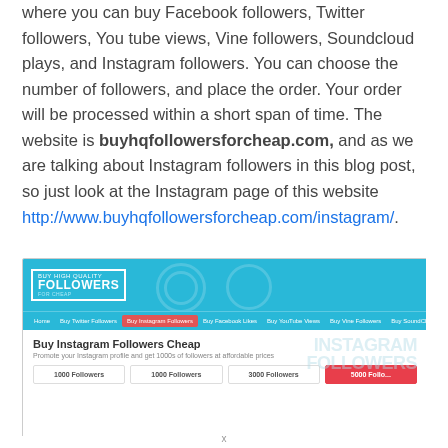where you can buy Facebook followers, Twitter followers, You tube views, Vine followers, Soundcloud plays, and Instagram followers. You can choose the number of followers, and place the order. Your order will be processed within a short span of time. The website is buyhqfollowersforcheap.com, and as we are talking about Instagram followers in this blog post, so just look at the Instagram page of this website http://www.buyhqfollowersforcheap.com/instagram/.
[Figure (screenshot): Screenshot of buyhqfollowersforcheap.com Instagram page showing the site header with logo and navigation bar including Home, Buy Twitter Followers, Buy Instagram Followers (active/highlighted in red), Buy Facebook Likes, Buy YouTube Views, Buy Vine Followers, Buy SoundCloud Plays. Below shows 'Buy Instagram Followers Cheap' heading with subtitle and watermark text 'INSTAGRAM FOLLOWERS'. Bottom shows partial package cards: 1000 Followers, 1000 Followers, 3000 Followers, 5000 Followers.]